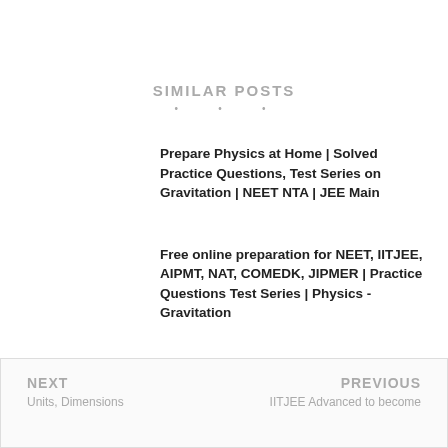SIMILAR POSTS
• • •
Prepare Physics at Home | Solved Practice Questions, Test Series on Gravitation | NEET NTA | JEE Main
Free online preparation for NEET, IITJEE, AIPMT, NAT, COMEDK, JIPMER | Practice Questions Test Series | Physics - Gravitation
NEXT  Units, Dimensions  |  PREVIOUS  IITJEE Advanced to become